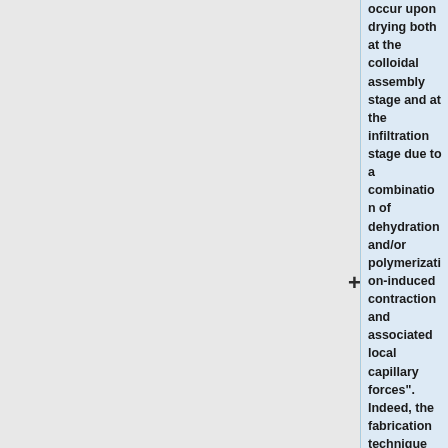occur upon drying both at the colloidal assembly stage and at the infiltration stage due to a combination of dehydration and/or polymerization-induced contraction and associated local capillary forces". Indeed, the fabrication technique consists only of two steps (Fig. 1): 1) Polymer colloids (e.g.